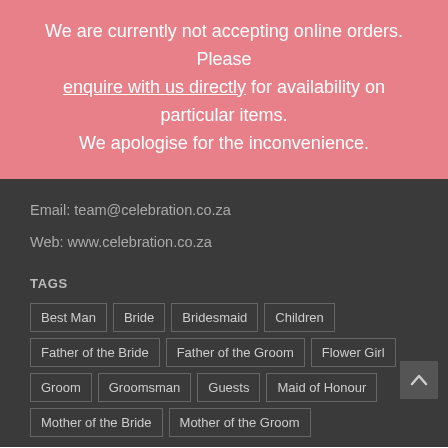We are currently not accepting online orders. Please enquire with us directly for availability on particular items. We apologise for the inconvenience.
Email: team@celebration.co.za
Web: www.celebration.co.za
TAGS
Best Man
Bride
Bridesmaid
Children
Father of the Bride
Father of the Groom
Flower Girl
Groom
Groomsman
Guests
Maid of Honour
Mother of the Bride
Mother of the Groom